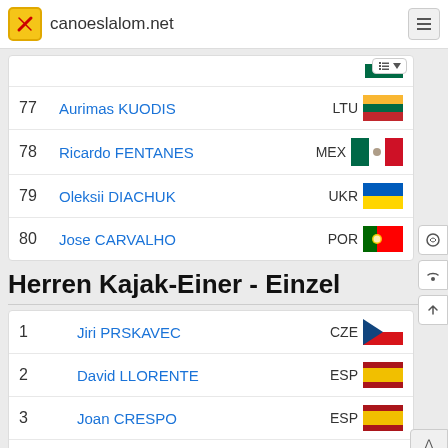canoeslalom.net
| Rank | Name | Country |
| --- | --- | --- |
| 77 | Aurimas KUODIS | LTU |
| 78 | Ricardo FENTANES | MEX |
| 79 | Oleksii DIACHUK | UKR |
| 80 | Jose CARVALHO | POR |
Herren Kajak-Einer - Einzel
| Rank | Name | Country |
| --- | --- | --- |
| 1 | Jiri PRSKAVEC | CZE |
| 2 | David LLORENTE | ESP |
| 3 | Joan CRESPO | ESP |
| 4 | Bradley FORBES-CRYANS | GBR |